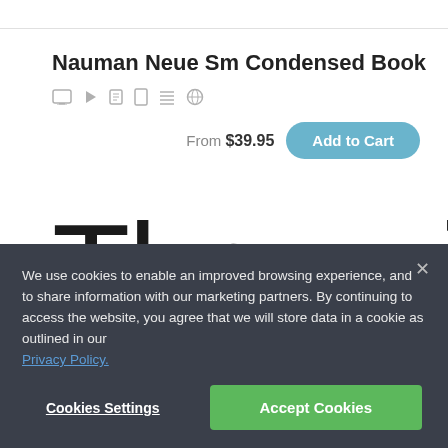Nauman Neue Sm Condensed Book
From $39.95
Add to Cart
The quick
We use cookies to enable an improved browsing experience, and to share information with our marketing partners. By continuing to access the website, you agree that we will store data in a cookie as outlined in our Privacy Policy.
Cookies Settings
Accept Cookies